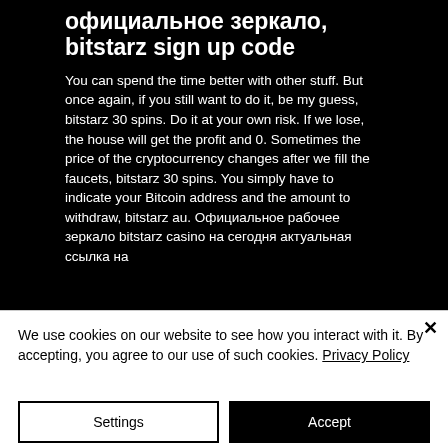официальное зеркало, bitstarz sign up code
You can spend the time better with other stuff. But once again, if you still want to do it, be my guess, bitstarz 30 spins. Do it at your own risk. If we lose, the house will get the profit and 0. Sometimes the price of the cryptocurrency changes after we fill the faucets, bitstarz 30 spins. You simply have to indicate your Bitcoin address and the amount to withdraw, bitstarz au. Официальное рабочее зеркало bitstarz casino на сегодня актуальная ссылка на
We use cookies on our website to see how you interact with it. By accepting, you agree to our use of such cookies. Privacy Policy
Settings
Accept